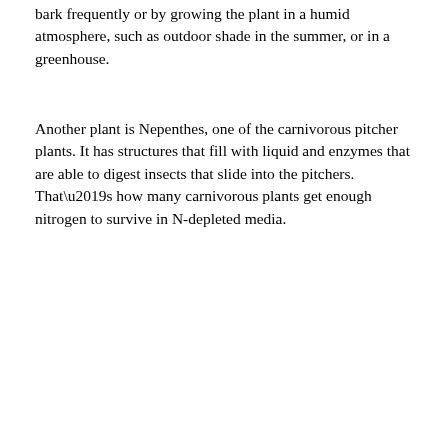bark frequently or by growing the plant in a humid atmosphere, such as outdoor shade in the summer, or in a greenhouse.
Another plant is Nepenthes, one of the carnivorous pitcher plants. It has structures that fill with liquid and enzymes that are able to digest insects that slide into the pitchers. That’s how many carnivorous plants get enough nitrogen to survive in N-depleted media.